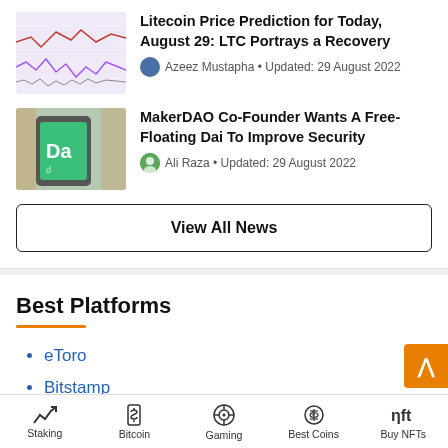[Figure (screenshot): Thumbnail image showing a Litecoin price chart with colored lines on a light purple background]
Litecoin Price Prediction for Today, August 29: LTC Portrays a Recovery
Azeez Mustapha • Updated: 29 August 2022
[Figure (photo): Thumbnail image showing a smartphone with a green/teal app screen with 'Da' text visible]
MakerDAO Co-Founder Wants A Free-Floating Dai To Improve Security
Ali Raza • Updated: 29 August 2022
View All News
Best Platforms
eToro
Bitstamp
Coinbase
Crypto.com
Staking  Bitcoin  Gaming  Best Coins  Buy NFTs